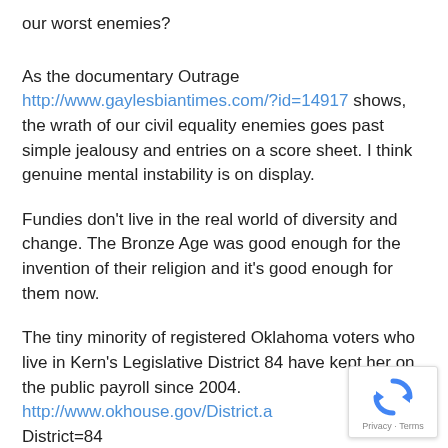our worst enemies?
As the documentary Outrage http://www.gaylesbiantimes.com/?id=14917 shows, the wrath of our civil equality enemies goes past simple jealousy and entries on a score sheet. I think genuine mental instability is on display.
Fundies don't live in the real world of diversity and change. The Bronze Age was good enough for the invention of their religion and it's good enough for them now.
The tiny minority of registered Oklahoma voters who live in Kern's Legislative District 84 have kept her on the public payroll since 2004. http://www.okhouse.gov/District.a District=84